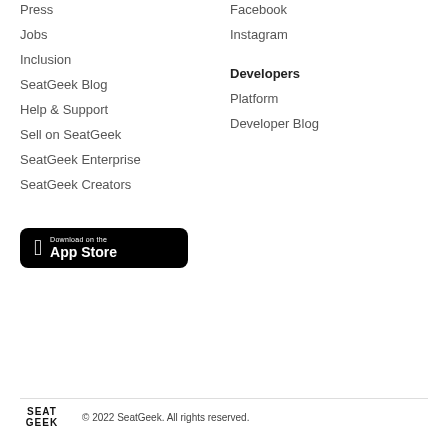Press
Facebook
Jobs
Instagram
Inclusion
Developers
SeatGeek Blog
Platform
Help & Support
Developer Blog
Sell on SeatGeek
SeatGeek Enterprise
SeatGeek Creators
[Figure (logo): Download on the App Store badge (black rounded rectangle with Apple logo)]
© 2022 SeatGeek. All rights reserved.